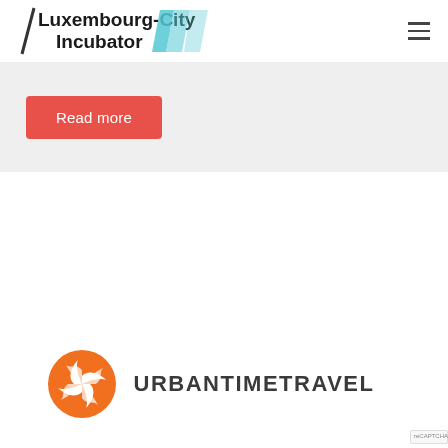[Figure (logo): Luxembourg-City Incubator logo with text and cyan parallelogram shapes]
Read more
[Figure (logo): Urban Time Travel logo: orange circular starburst icon next to bold text URBANTIMETRAVEL]